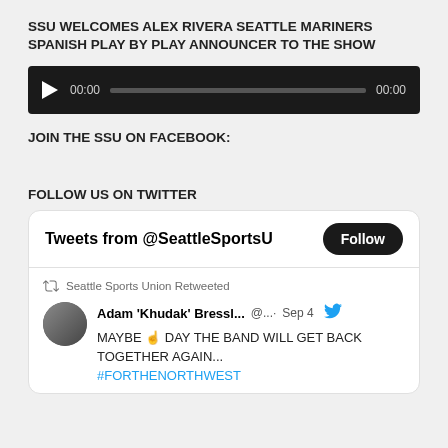SSU WELCOMES ALEX RIVERA SEATTLE MARINERS SPANISH PLAY BY PLAY ANNOUNCER TO THE SHOW
[Figure (other): Audio player widget with play button, time display 00:00, progress bar, and duration 00:00, dark background]
JOIN THE SSU ON FACEBOOK:
FOLLOW US ON TWITTER
[Figure (screenshot): Twitter widget showing tweets from @SeattleSportsU with a Follow button, a retweet by Seattle Sports Union from Adam 'Khudak' Bressl... @... Sep 4 saying MAYBE ☝ DAY THE BAND WILL GET BACK TOGETHER AGAIN... #FORTHENORTHWEST]